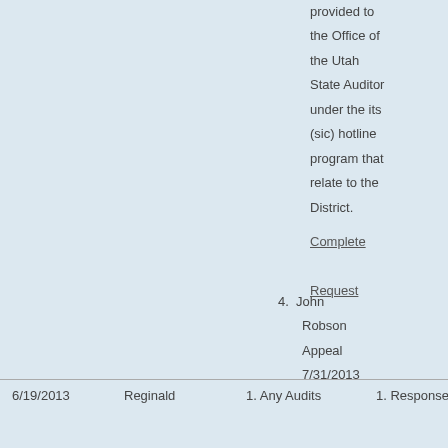provided to the Office of the Utah State Auditor under the its (sic) hotline program that relate to the District.
Complete Request
4. John Robson Appeal 7/31/2013
Complete Appeal
|  |  |  |  |
| --- | --- | --- | --- |
| 6/19/2013 | Reginald | 1. Any Audits | 1. Response |